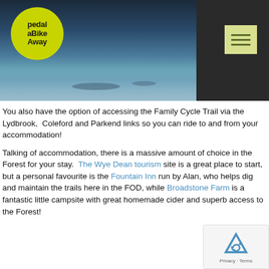[Figure (photo): Winter landscape photo showing a frozen or icy lake/river scene with dark water and ice, trees in background, dark sky. Pedal a Bike Away logo (yellow-green circle with black text) overlaid top-left. Menu button (light yellow-green square with three lines) top-right on dark grey bar.]
You also have the option of accessing the Family Cycle Trail via the Lydbrook,  Coleford and Parkend links so you can ride to and from your accommodation!
Talking of accommodation, there is a massive amount of choice in the Forest for your stay.  The Wye Dean tourism site is a great place to start, but a personal favourite is the Fountain Inn run by Alan, who helps dig and maintain the trails here in the FOD, while Broadstone Farm is a fantastic little campsite with great homemade cider and superb access to the Forest!
[Figure (other): reCAPTCHA widget showing Google reCAPTCHA logo with Privacy and Terms text]